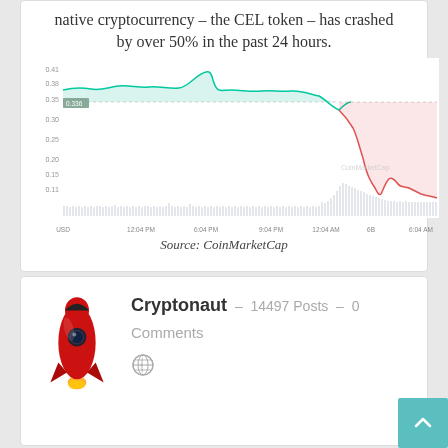native cryptocurrency – the CEL token – has crashed by over 50% in the past 24 hours.
[Figure (continuous-plot): Price chart of CEL token showing a crash of over 50%. The line starts around 0.38-0.41, dips briefly, recovers and spikes near 0.41, then trends down sharply to around 0.175-0.20. Green shading above and red shading below the dotted reference line. Y-axis labels: 0.41, 0.38(?), 0.35, 0.30, 0.25, 0.20, 0.15, 0.11. X-axis: time labels 12:04 PM, 12:04 PM, 6:04 PM, 9:04 PM, 12:04 AM, 6B, 6:04 AM. Volume bars at bottom. Watermark: CoinMarketCap.]
Source: CoinMarketCap
Cryptonaut  -  14497 Posts  -  0
Comments